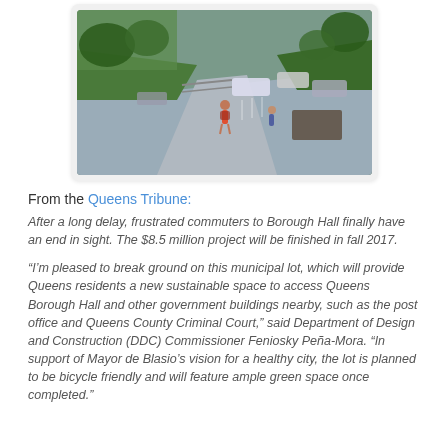[Figure (photo): Aerial/elevated rendering of a parking lot area near Borough Hall, Queens, showing pedestrians, parked cars, trees, and walkways with greenery]
From the Queens Tribune:
After a long delay, frustrated commuters to Borough Hall finally have an end in sight. The $8.5 million project will be finished in fall 2017.
“I’m pleased to break ground on this municipal lot, which will provide Queens residents a new sustainable space to access Queens Borough Hall and other government buildings nearby, such as the post office and Queens County Criminal Court,” said Department of Design and Construction (DDC) Commissioner Feniosky Peña-Mora. “In support of Mayor de Blasio’s vision for a healthy city, the lot is planned to be bicycle friendly and will feature ample green space once completed.”